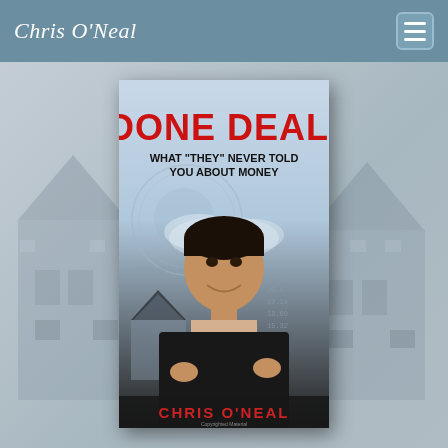Chris O'Neal
[Figure (photo): Book cover of 'Done Deal. What They Never Told You About Money' by Chris O'Neal, showing the author (a young man in a black sweater with arms crossed) against a background of currency imagery and houses.]